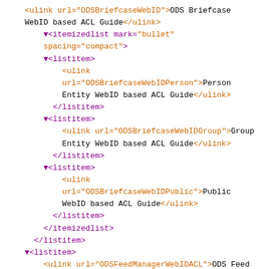<ulink url="ODSBriefcaseWebID">ODS Briefcase WebID based ACL Guide</ulink>
▼<itemizedlist mark="bullet" spacing="compact">
  ▼<listitem>
      <ulink url="ODSBriefcaseWebIDPerson">Person Entity WebID based ACL Guide</ulink>
    </listitem>
  ▼<listitem>
      <ulink url="ODSBriefcaseWebIDGroup">Group Entity WebID based ACL Guide</ulink>
    </listitem>
  ▼<listitem>
      <ulink url="ODSBriefcaseWebIDPublic">Public WebID based ACL Guide</ulink>
    </listitem>
  </itemizedlist>
</listitem>
▼<listitem>
  <ulink url="ODSFeedManagerWebIDACL">ODS Feed Manager WebID based ACL Guide</ulink>
  ▼<itemizedlist mark="bullet" spacing="compact">
  ▼<listitem>
      <ulink url="ODSFeedManagerWebIDACLPerson">Person Entity Specific ACL</ulink>
    </listitem>